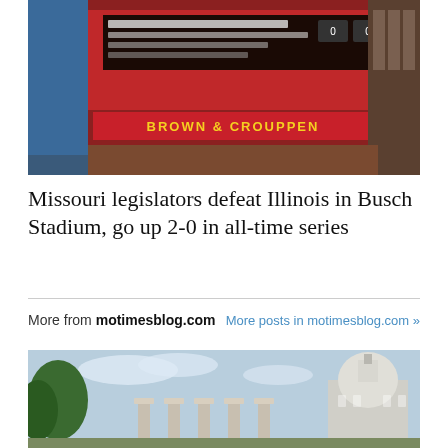[Figure (photo): Photo of Busch Stadium scoreboard with red signage reading BROWN & CROUPPEN, blurred background with stadium architecture]
Missouri legislators defeat Illinois in Busch Stadium, go up 2-0 in all-time series
More from motimesblog.com   More posts in motimesblog.com »
[Figure (photo): Photo of the University of Missouri columns with a domed building in background against a blue sky with trees]